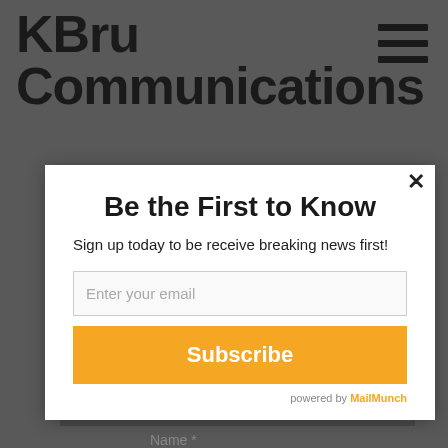KBru Communications
[Figure (screenshot): Hamburger menu icon (three horizontal lines) in top right corner]
Your email address will not be published.
Be the First to Know
Sign up today to be receive breaking news first!
[Figure (screenshot): Email input field with placeholder 'Enter your email']
[Figure (screenshot): Orange Subscribe button]
powered by MailMunch
Name *